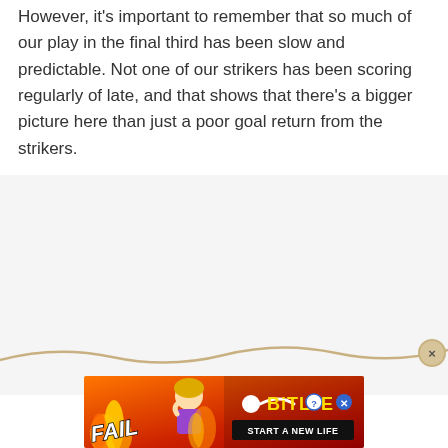However, it's important to remember that so much of our play in the final third has been slow and predictable. Not one of our strikers has been scoring regularly of late, and that shows that there's a bigger picture here than just a poor goal return from the strikers.
[Figure (other): Gray empty content area (advertisement placeholder) with a wavy tan/gold decorative divider line and a circular close (X) button at the right end of the line.]
[Figure (other): Advertisement banner for BitLife game with red/orange fire background, 'FAIL' text, animated female character, BitLife logo in yellow text, and 'START A NEW LIFE' button on black background.]